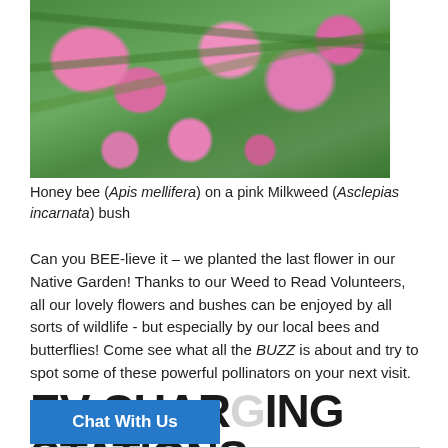[Figure (photo): Honey bee on a pink Milkweed (Asclepias incarnata) bush with green leaves and pink flower clusters]
Honey bee (Apis mellifera) on a pink Milkweed (Asclepias incarnata) bush
Can you BEE-lieve it – we planted the last flower in our Native Garden! Thanks to our Weed to Read Volunteers, all our lovely flowers and bushes can be enjoyed by all sorts of wildlife - but especially by our local bees and butterflies! Come see what all the BUZZ is about and try to spot some of these powerful pollinators on your next visit.
EV CHARGING STATIONS